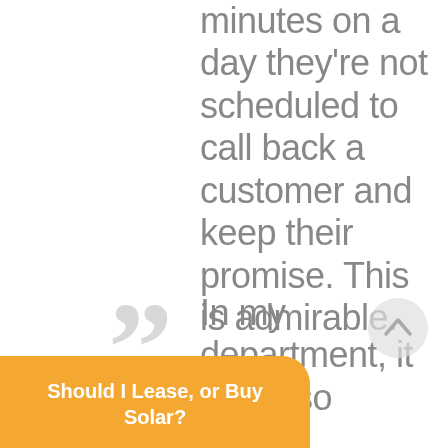minutes on a day they're not scheduled to call back a customer and keep their promise. This is admirable.
In my department, it being so small, constantly ss what
[Figure (illustration): Large decorative grey quotation marks on the left side]
[Figure (other): Light grey circle with upward-pointing chevron arrow, a scroll-to-top button]
Should I Lease, or Buy Solar?